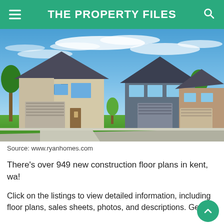THE PROPERTY FILES
[Figure (photo): Photograph of a suburban residential neighborhood showing two-story houses with garages, green lawns, and a blue sky with wispy clouds. Source: www.ryanhomes.com]
Source: www.ryanhomes.com
There's over 949 new construction floor plans in kent, wa!
Click on the listings to view detailed information, including floor plans, sales sheets, photos, and descriptions. Get